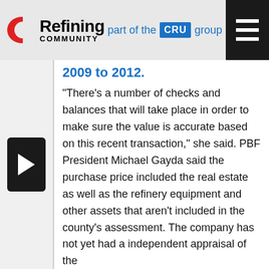Refining Community — part of the CRU group
2009 to 2012.
“There’s a number of checks and balances that will take place in order to make sure the value is accurate based on this recent transaction,” she said. PBF President Michael Gayda said the purchase price included the real estate as well as the refinery equipment and other assets that aren’t included in the county’s assessment. The company has not yet had a independent appraisal of the